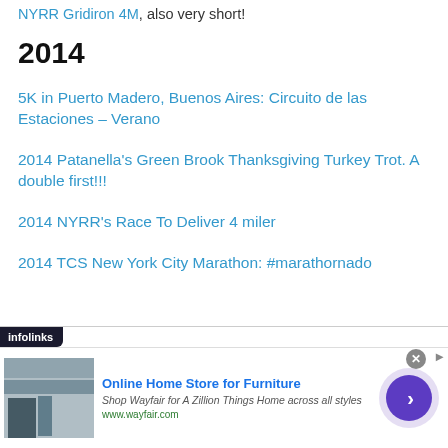NYRR Gridiron 4M, also very short!
2014
5K in Puerto Madero, Buenos Aires: Circuito de las Estaciones – Verano
2014 Patanella's Green Brook Thanksgiving Turkey Trot. A double first!!!
2014 NYRR's Race To Deliver 4 miler
2014 TCS New York City Marathon: #marathornado
[Figure (screenshot): Infolinks ad overlay with Wayfair Online Home Store for Furniture advertisement]